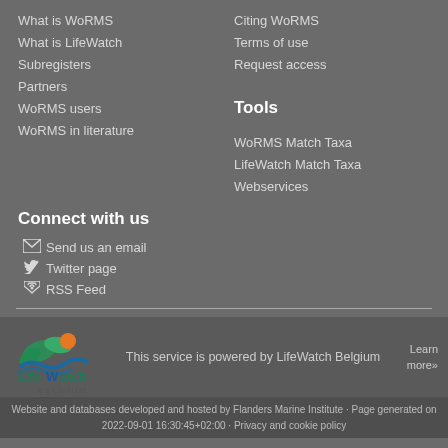What is WoRMS
What is LifeWatch
Subregisters
Partners
WoRMS users
WoRMS in literature
Citing WoRMS
Terms of use
Request access
Tools
WoRMS Match Taxa
LifeWatch Match Taxa
Webservices
Connect with us
Send us an email
Twitter page
RSS Feed
[Figure (logo): LifeWatch Belgium logo]
This service is powered by LifeWatch Belgium
Learn more»
Website and databases developed and hosted by Flanders Marine Institute · Page generated on 2022-09-01 16:30:45+02:00 · Privacy and cookie policy